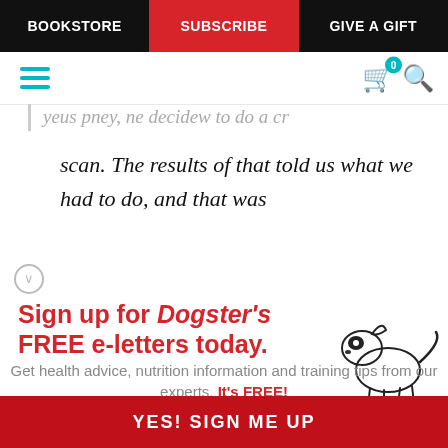BOOKSTORE | SUBSCRIBE | GIVE A GIFT
scan. The results of that told us what we had to do, and that was
[Figure (illustration): Cartoon line drawing of a small dog with a black patch over one eye, standing on four legs]
Sign up for Dogster's FREE e-letters today.
Get health advice, nutrition information and training tips from our experts. It's FREE!
Enter your Email
YES! SIGN ME UP